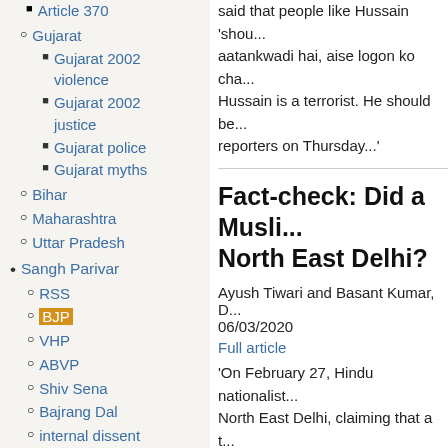Article 370
Gujarat
Gujarat 2002 violence
Gujarat 2002 justice
Gujarat police
Gujarat myths
Bihar
Maharashtra
Uttar Pradesh
Sangh Parivar
RSS
BJP
VHP
ABVP
Shiv Sena
Bajrang Dal
internal dissent
Parivar individuals
Amit Shah
said that people like Hussain 'shou... aatankwadi hai, aise logon ko cha... Hussain is a terrorist. He should be... reporters on Thursday...'
Fact-check: Did a Musli... North East Delhi?
Ayush Tiwari and Basant Kumar, D... 06/03/2020
Full article
'On February 27, Hindu nationalist... North East Delhi, claiming that a t... Islamist fundamentalists". The arti... retweeted by the Twitter handle of... Swarajya, also retweeted the piece... the report, and they turned out to b...